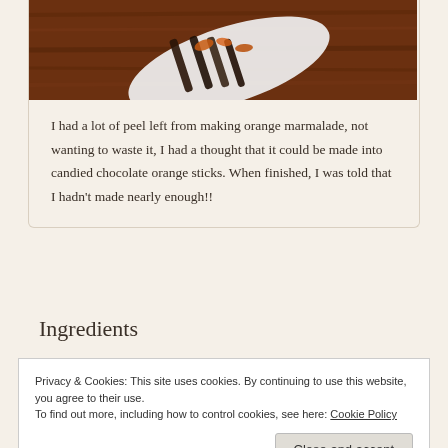[Figure (photo): Photo of chocolate orange sticks on a white oval plate on a dark wooden surface]
I had a lot of peel left from making orange marmalade, not wanting to waste it, I had a thought that it could be made into candied chocolate orange sticks. When finished, I was told that I hadn't made nearly enough!!
Ingredients
Privacy & Cookies: This site uses cookies. By continuing to use this website, you agree to their use.
To find out more, including how to control cookies, see here: Cookie Policy
50 g good quality, 70% cocoa dark chocolate